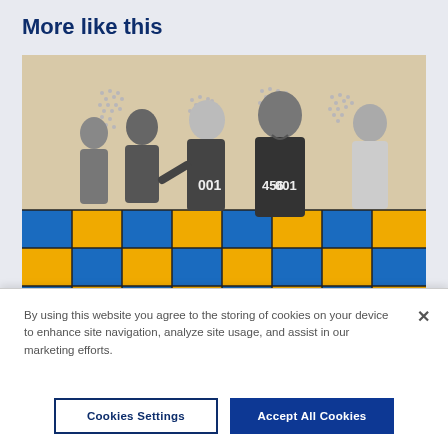More like this
[Figure (photo): Group of people standing on a blue and yellow checkered floor with a dotted world map background. Several people in athletic jerseys with numbers (001, 456, 001) are interacting and smiling.]
By using this website you agree to the storing of cookies on your device to enhance site navigation, analyze site usage, and assist in our marketing efforts.
Cookies Settings
Accept All Cookies